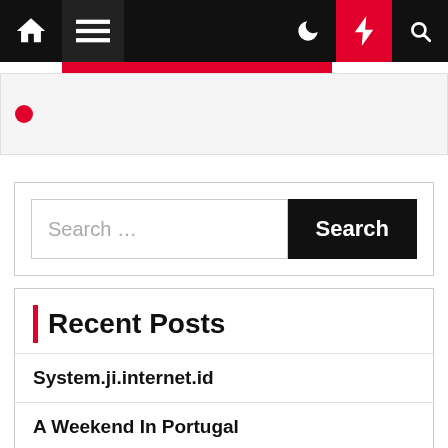Navigation bar with home, menu, moon, bolt, and search icons
[Figure (screenshot): Partial logo area with red dot visible]
[Figure (screenshot): Search bar with text input field placeholder 'Search ...' and black Search button]
Recent Posts
System.ji.internet.id
A Weekend In Portugal
5 Popular Parks in Toronto
Individual Tour Packages